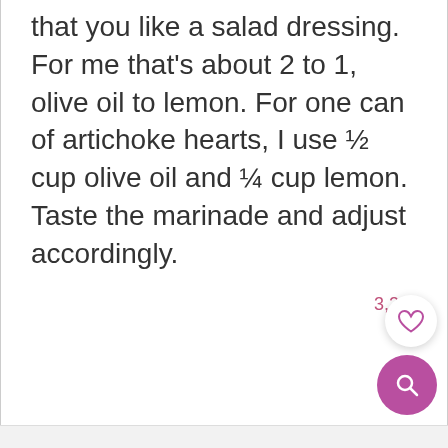that you like a salad dressing. For me that's about 2 to 1, olive oil to lemon. For one can of artichoke hearts, I use ½ cup olive oil and ¼ cup lemon. Taste the marinade and adjust accordingly.
3,243
[Figure (other): Heart/like button (white circle with heart outline icon) and a purple circular search button with magnifying glass icon, with like count 3,243 above]